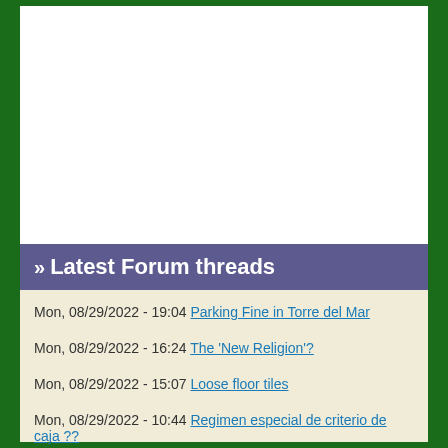Latest Forum threads
Mon, 08/29/2022 - 19:04 Parking Fine in Torre del Mar
Mon, 08/29/2022 - 16:24 The 'New Religion'?
Mon, 08/29/2022 - 15:07 Loose floor tiles
Mon, 08/29/2022 - 10:44 Regimen especial de criterio de caja ??
Mon, 08/29/2022 - 08:03 TSMS Lakonia Disaster.1963
Mon, 08/29/2022 - 07:01 Loss of TV channels